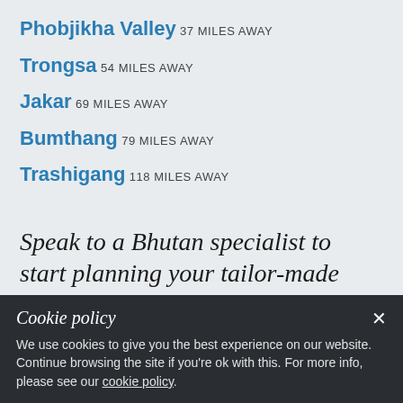Phobjikha Valley 37 MILES AWAY
Trongsa 54 MILES AWAY
Jakar 69 MILES AWAY
Bumthang 79 MILES AWAY
Trashigang 118 MILES AWAY
Speak to a Bhutan specialist to start planning your tailor-made holiday...
Cookie policy
We use cookies to give you the best experience on our website. Continue browsing the site if you're ok with this. For more info, please see our cookie policy.